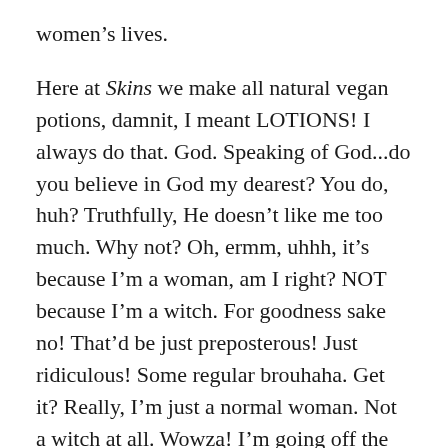women's lives.
Here at Skins we make all natural vegan potions, damnit, I meant LOTIONS! I always do that. God. Speaking of God...do you believe in God my dearest? You do, huh? Truthfully, He doesn't like me too much. Why not? Oh, ermm, uhhh, it's because I'm a woman, am I right? NOT because I'm a witch. For goodness sake no! That'd be just preposterous! Just ridiculous! Some regular brouhaha. Get it? Really, I'm just a normal woman. Not a witch at all. Wowza! I'm going off the rails here.